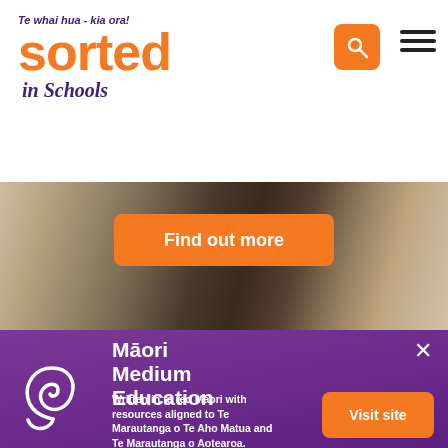Te whai hua - kia ora! sorted in Schools
[Figure (screenshot): Sorted in Schools website screenshot showing header with logo, search and menu icons, a photo banner with Find out more button, and a Māori Medium Education popup panel with Visit site button]
Māori Medium Education
Written in te reo Māori with resources aligned to Te Marautanga o Te Aho Matua and Te Marautanga o Aotearoa.